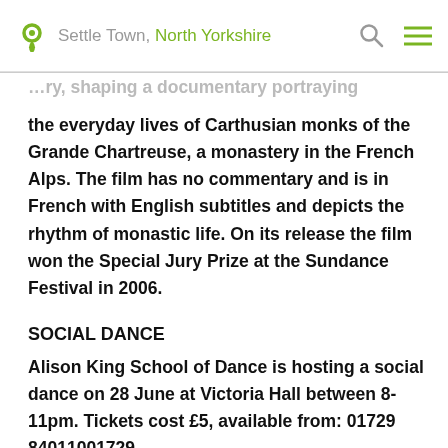Settle Town, North Yorkshire
the everyday lives of Carthusian monks of the Grande Chartreuse, a monastery in the French Alps. The film has no commentary and is in French with English subtitles and depicts the rhythm of monastic life. On its release the film won the Special Jury Prize at the Sundance Festival in 2006.
SOCIAL DANCE
Alison King School of Dance is hosting a social dance on 28 June at Victoria Hall between 8-11pm. Tickets cost £5, available from: 01729 84011001729